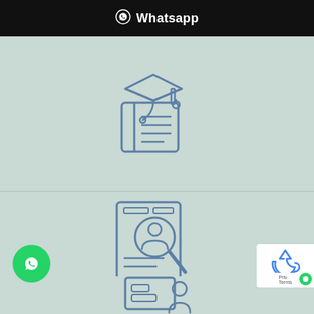Whatsapp
[Figure (illustration): Blue line icon of an open book with a graduation cap on top]
[Figure (illustration): Blue line icon of a document/screen with a magnifying glass showing a person profile]
Thesis Help
Help and Guidance of All Subjects
[Figure (illustration): Blue line icon of a person at a desk/monitor, partially visible at bottom]
[Figure (logo): WhatsApp green floating action button with phone icon]
[Figure (logo): Google reCAPTCHA badge in bottom right corner]